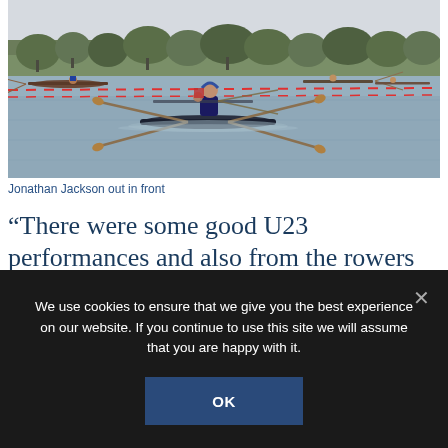[Figure (photo): Rowing race on a lake with multiple scullers in single scull boats. The lead rower is close to the camera in the center, with others visible in the background. A red dashed lane marker runs across the water. Trees line the far bank under an overcast sky.]
Jonathan Jackson out in front
“There were some good U23 performances and also from the rowers who have come from last year’s Junior team, they stepped up and made
We use cookies to ensure that we give you the best experience on our website. If you continue to use this site we will assume that you are happy with it.
OK